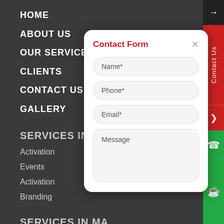HOME
ABOUT US
OUR SERVICES
CLIENTS
CONTACT US
GALLERY
SERVICES IN EV
Activation
Events
Activation
Branding
SERVICES IN MA
Contact Form
Name*
Phone*
Email*
Message